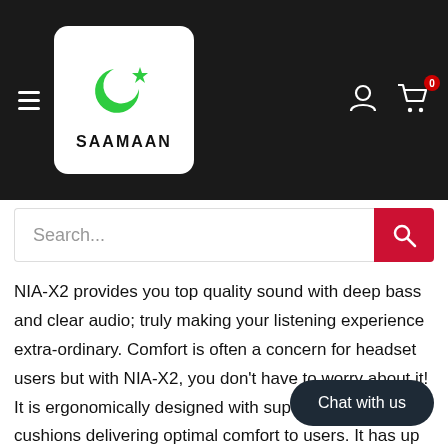[Figure (logo): Saamaan.pk e-commerce website screenshot header with logo, hamburger menu, user icon, cart icon, and search bar]
NIA-X2 provides you top quality sound with deep bass and clear audio; truly making your listening experience extra-ordinary. Comfort is often a concern for headset users but with NIA-X2, you don't have to worry about it! It is ergonomically designed with super soft easy cushions delivering optimal comfort to users. It has up to 12 hours talk time. It has low maintenance LI-Po battery. You can buy this product online in Pakistan from Saamaan.pk